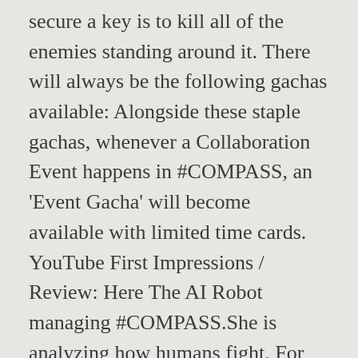secure a key is to kill all of the enemies standing around it. There will always be the following gachas available: Alongside these staple gachas, whenever a Collaboration Event happens in #COMPASS, an 'Event Gacha' will become available with limited time cards. YouTube First Impressions / Review: Here The AI Robot managing #COMPASS.She is analyzing how humans fight. For kids that are just beginning to learn their cardinal directions, this game will help to familiarize them. Most gacha games are claimed to be generous by some people out there so dunno if saying that matters much. It is the character theme song of Voidoll from the NHN Playart x NND's game